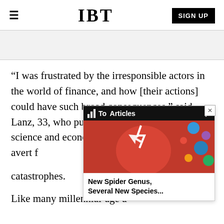IBT  SIGN UP
“I was frustrated by the irresponsible actors in the world of finance, and how [their actions] could have such broad consequences,” said Lanz, 33, who pursued studies in political science and economics to learn how to help avert f[uture financial] catastrophes.
[Figure (screenshot): A popup overlay showing a Top Articles widget on IBT website, with a red background image and caption 'New Spider Genus, Several New Species...']
Like many millennial-age a[dults who experienced the] global recession as teens and young adults, Lanz was turned off by the financial system. He felt the